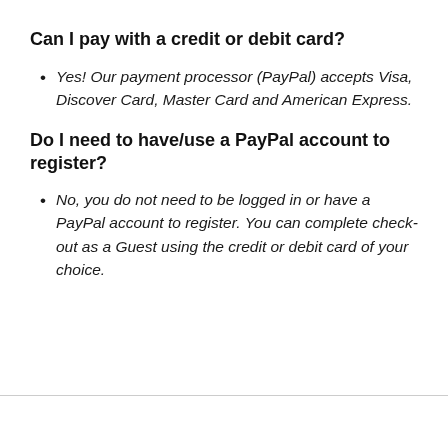Can I pay with a credit or debit card?
Yes! Our payment processor (PayPal) accepts Visa, Discover Card, Master Card and American Express.
Do I need to have/use a PayPal account to register?
No, you do not need to be logged in or have a PayPal account to register. You can complete check-out as a Guest using the credit or debit card of your choice.